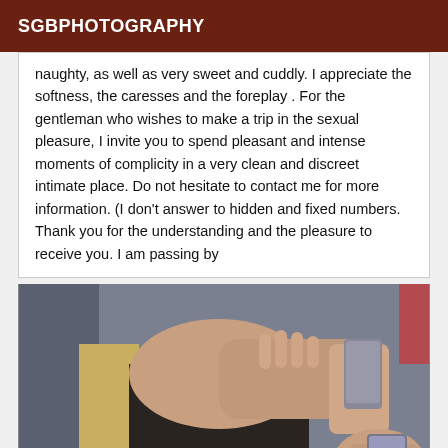SGBPHOTOGRAPHY
naughty, as well as very sweet and cuddly. I appreciate the softness, the caresses and the foreplay . For the gentleman who wishes to make a trip in the sexual pleasure, I invite you to spend pleasant and intense moments of complicity in a very clean and discreet intimate place. Do not hesitate to contact me for more information. (I don't answer to hidden and fixed numbers. Thank you for the understanding and the pleasure to receive you. I am passing by
[Figure (photo): A person holding a smartphone, taking a mirror selfie. Muscular arm visible in the foreground, phone held up in a dark interior setting.]